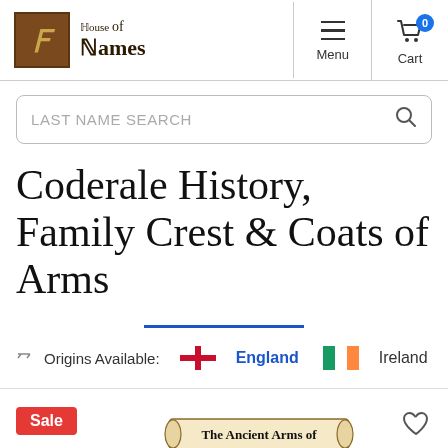[Figure (logo): House of Names website header with ornate 'H' logo icon in brown/gold, gothic text 'House of Names', hamburger menu icon with 'Menu' label, and cart icon with '0' badge and 'Cart' label]
[Figure (screenshot): Search bar with placeholder text 'LAST NAME SEARCH' and magnifying glass icon]
Coderale History, Family Crest & Coats of Arms
[Figure (infographic): Origins Available: England (with English flag cross) and Ireland (with Irish tricolor flag)]
[Figure (illustration): Product card showing 'Sale' badge in red, heart/wishlist icon, and a scroll banner reading 'The Ancient Arms of' with partial coat of arms illustration below]